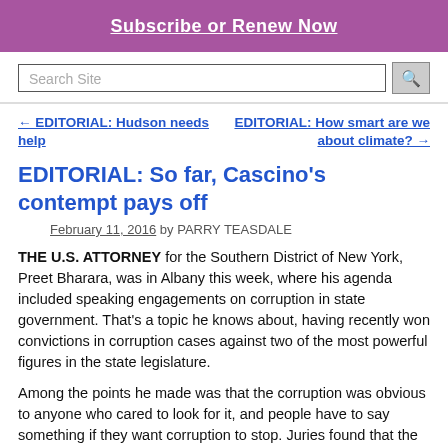[Figure (other): Purple banner with white underlined text 'Subscribe or Renew Now']
Search Site
← EDITORIAL: Hudson needs help
EDITORIAL: How smart are we about climate? →
EDITORIAL: So far, Cascino's contempt pays off
February 11, 2016 by PARRY TEASDALE
THE U.S. ATTORNEY for the Southern District of New York, Preet Bharara, was in Albany this week, where his agenda included speaking engagements on corruption in state government. That's a topic he knows about, having recently won convictions in corruption cases against two of the most powerful figures in the state legislature.
Among the points he made was that the corruption was obvious to anyone who cared to look for it, and people have to say something if they want corruption to stop. Juries found that the speaker of the Assembly, Sheldon